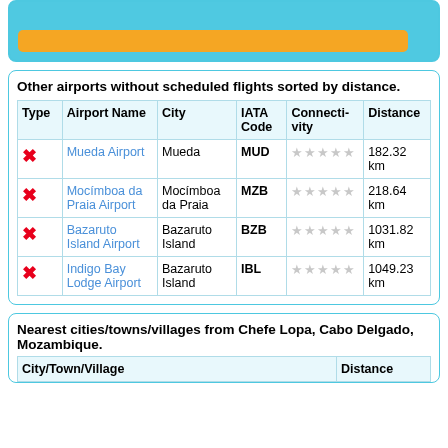| Type | Airport Name | City | IATA Code | Connectivity | Distance |
| --- | --- | --- | --- | --- | --- |
| ✗ | Mueda Airport | Mueda | MUD | ★★★★★ | 182.32 km |
| ✗ | Mocímboa da Praia Airport | Mocímboa da Praia | MZB | ★★★★★ | 218.64 km |
| ✗ | Bazaruto Island Airport | Bazaruto Island | BZB | ★★★★★ | 1031.82 km |
| ✗ | Indigo Bay Lodge Airport | Bazaruto Island | IBL | ★★★★★ | 1049.23 km |
Nearest cities/towns/villages from Chefe Lopa, Cabo Delgado, Mozambique.
| City/Town/Village | Distance |
| --- | --- |